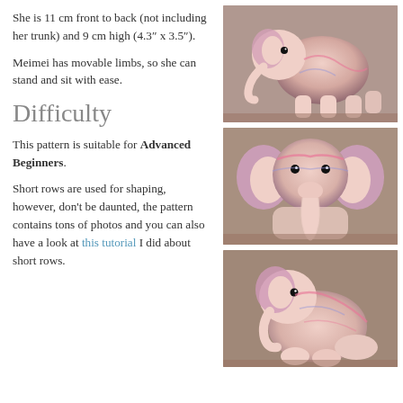She is 11 cm front to back (not including her trunk) and 9 cm high (4.3″ x 3.5″).
[Figure (photo): Pink crocheted elephant toy viewed from the side, showing its body and legs on a wooden surface]
Meimei has movable limbs, so she can stand and sit with ease.
Difficulty
[Figure (photo): Pink crocheted elephant toy viewed from the front, showing its face, trunk, and ears]
This pattern is suitable for Advanced Beginners.
Short rows are used for shaping, however, don't be daunted, the pattern contains tons of photos and you can also have a look at this tutorial I did about short rows.
[Figure (photo): Pink crocheted elephant toy in a sitting position viewed from the side]